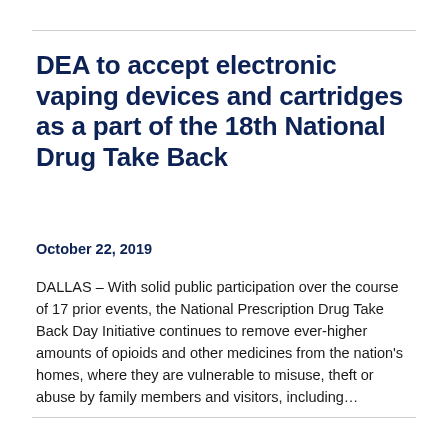DEA to accept electronic vaping devices and cartridges as a part of the 18th National Drug Take Back
October 22, 2019
DALLAS – With solid public participation over the course of 17 prior events, the National Prescription Drug Take Back Day Initiative continues to remove ever-higher amounts of opioids and other medicines from the nation's homes, where they are vulnerable to misuse, theft or abuse by family members and visitors, including...